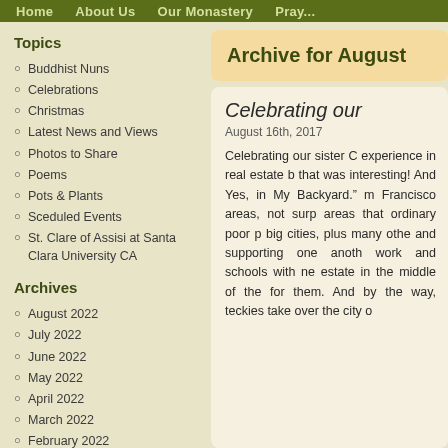Home   About Us   Our Monastery   Pray...
Topics
Buddhist Nuns
Celebrations
Christmas
Latest News and Views
Photos to Share
Poems
Pots & Plants
Sceduled Events
St. Clare of Assisi at Santa Clara University CA
Archives
August 2022
July 2022
June 2022
May 2022
April 2022
March 2022
February 2022
Archive for August
Celebrating our
August 16th, 2017
Celebrating our sister C experience in real estate b that was interesting!  And Yes, in My Backyard." m Francisco areas, not surp areas that ordinary poor p big cities, plus many othe and supporting one anoth work and schools with ne estate in the middle of the for them.  And by the way teckies take over the city o